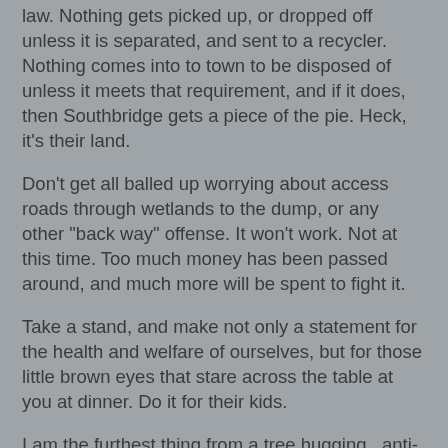law. Nothing gets picked up, or dropped off unless it is separated, and sent to a recycler. Nothing comes into to town to be disposed of unless it meets that requirement, and if it does, then Southbridge gets a piece of the pie. Heck, it's their land.
Don't get all balled up worrying about access roads through wetlands to the dump, or any other "back way" offense. It won't work. Not at this time. Too much money has been passed around, and much more will be spent to fight it.
Take a stand, and make not only a statement for the health and welfare of ourselves, but for those little brown eyes that stare across the table at you at dinner. Do it for their kids.
I am the furthest thing from a tree hugging , anti-trash, recycling extremist. I toss my soda cans in the trash. I won't spend the extra money to the trash collector so he can take my recyclables away and make more money. I won't even take the time to go to the recycling center and separate my plastics and glass. It's not that I don't care about the earth. I do. But, I am just like the majority of you. If it is OK to mix my